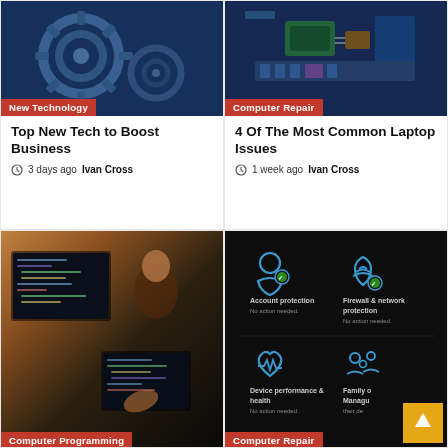[Figure (photo): Close-up of mechanical/technological gears or turbine in blue tones with 'New Technology' badge]
Top New Tech to Boost Business
3 days ago  Ivan Cross
[Figure (photo): Circuit board / motherboard close-up with 'Computer Repair' badge]
4 Of The Most Common Laptop Issues
1 week ago  Ivan Cross
[Figure (photo): Female programmer working at multiple monitors with code; 'Computer Programming' badge]
[Figure (screenshot): Windows Security screen showing Account protection, Firewall & network protection, Device performance & health, Family options icons with 'Computer Repair' badge]